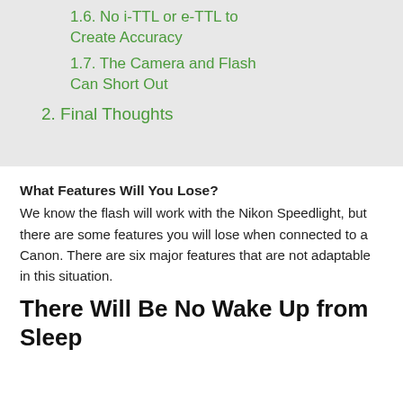1.6. No i-TTL or e-TTL to Create Accuracy
1.7. The Camera and Flash Can Short Out
2. Final Thoughts
What Features Will You Lose?
We know the flash will work with the Nikon Speedlight, but there are some features you will lose when connected to a Canon. There are six major features that are not adaptable in this situation.
There Will Be No Wake Up from Sleep